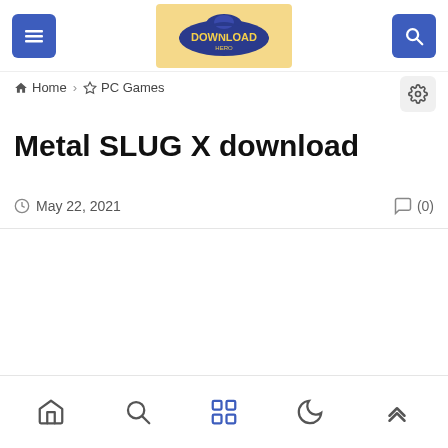Navigation bar with menu button, Download logo, and search button
Home > PC Games
Metal SLUG X download
May 22, 2021  (0)
Bottom navigation: home, search, apps, dark mode, scroll to top